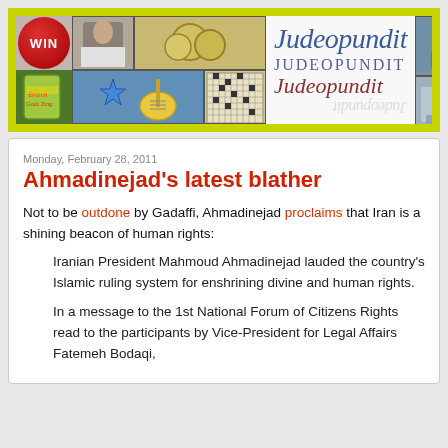[Figure (illustration): Judeopundit blog banner with collage of images (WIN badge, food bag, guitar, person, coins, grid pattern, people playing music, street scene) and the text 'Judeopundit' in three typographic styles (serif italic blue, uppercase caps, italic dark red) with a reflection, on a yellow-green border background.]
Monday, February 28, 2011
Ahmadinejad's latest blather
Not to be outdone by Gadaffi, Ahmadinejad proclaims that Iran is a shining beacon of human rights:
Iranian President Mahmoud Ahmadinejad lauded the country's Islamic ruling system for enshrining divine and human rights.
In a message to the 1st National Forum of Citizens Rights read to the participants by Vice-President for Legal Affairs Fatemeh Bodaqi,